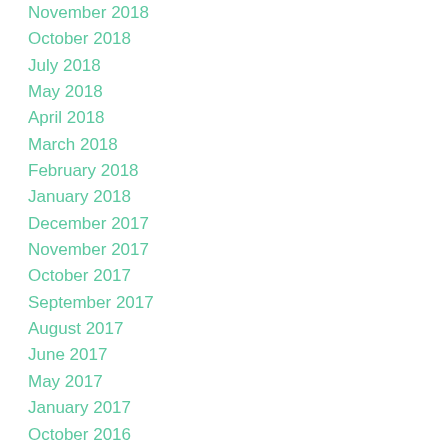November 2018
October 2018
July 2018
May 2018
April 2018
March 2018
February 2018
January 2018
December 2017
November 2017
October 2017
September 2017
August 2017
June 2017
May 2017
January 2017
October 2016
September 2016